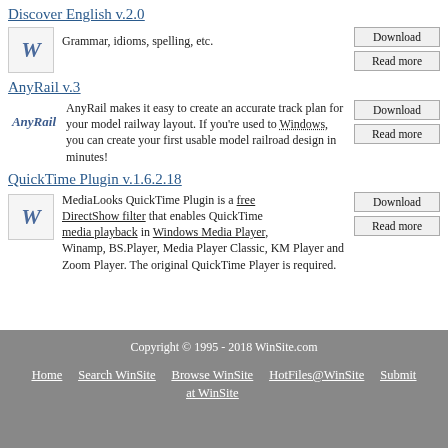Discover English  v.2.0
Grammar, idioms, spelling, etc.
AnyRail  v.3
AnyRail makes it easy to create an accurate track plan for your model railway layout. If you're used to Windows, you can create your first usable model railroad design in minutes!
QuickTime Plugin  v.1.6.2.18
MediaLooks QuickTime Plugin is a free DirectShow filter that enables QuickTime media playback in Windows Media Player, Winamp, BS.Player, Media Player Classic, KM Player and Zoom Player. The original QuickTime Player is required.
Copyright © 1995 - 2018 WinSite.com
Home   Search WinSite   Browse WinSite at WinSite   HotFiles@WinSite   Submit